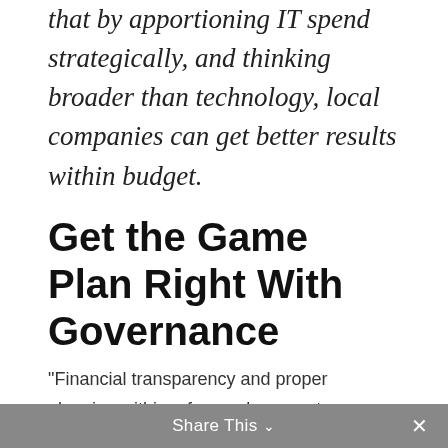that by apportioning IT spend strategically, and thinking broader than technology, local companies can get better results within budget.
Get the Game Plan Right With Governance
“Financial transparency and proper planning within a focused corporate governance framework are integral to putting together an IT budget and spending on technology wisely. To achieve results and stay within budget, we’ve seen that companies who work with trusted sources and use fit-for-purpose solutions have far fewer failed IT initiatives than their industry
Share This